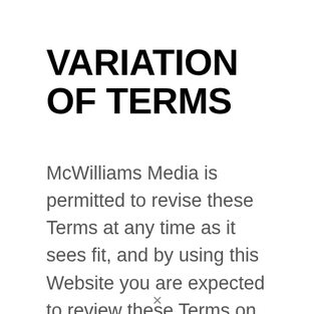VARIATION OF TERMS
McWilliams Media is permitted to revise these Terms at any time as it sees fit, and by using this Website you are expected to review these Terms on a regular basis.